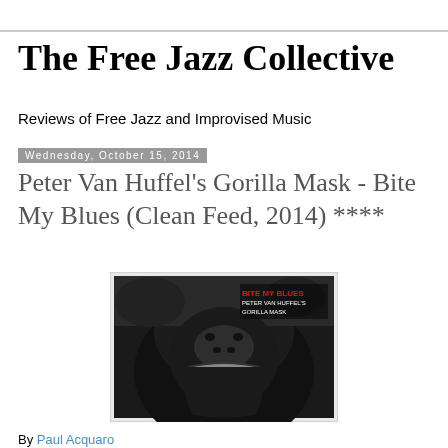The Free Jazz Collective
Reviews of Free Jazz and Improvised Music
Wednesday, October 15, 2014
Peter Van Huffel's Gorilla Mask - Bite My Blues (Clean Feed, 2014) ****
[Figure (photo): Album cover for 'Bite My Blues' by Peter Van Huffel's Gorilla Mask. Black and white close-up photograph of a roaring gorilla with mouth wide open. Red and white text in upper right reads 'BITE MY BLUES / PETER VAN HUFFEL'S / GORILLA MASK'.]
By Paul Acquaro